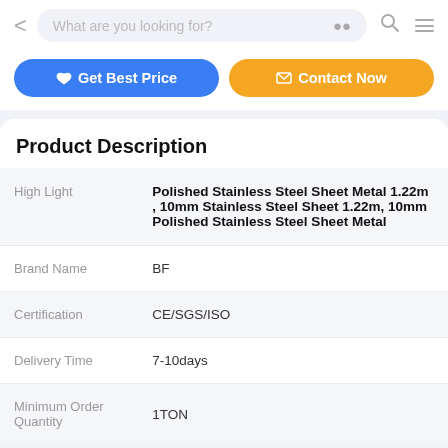What are you looking for?
Get Best Price | Contact Now
Product Description
| Field | Value |
| --- | --- |
| High Light | Polished Stainless Steel Sheet Metal 1.22m , 10mm Stainless Steel Sheet 1.22m, 10mm Polished Stainless Steel Sheet Metal |
| Brand Name | BF |
| Certification | CE/SGS/ISO |
| Delivery Time | 7-10days |
| Minimum Order Quantity | 1TON |